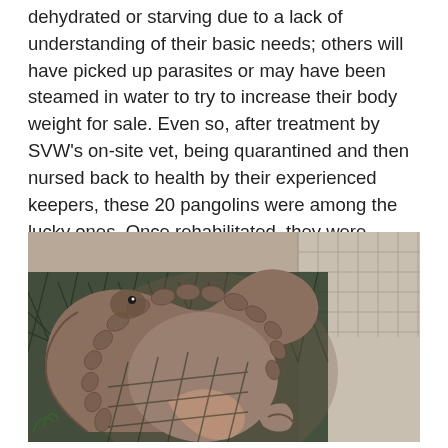dehydrated or starving due to a lack of understanding of their basic needs; others will have picked up parasites or may have been steamed in water to try to increase their body weight for sale. Even so, after treatment by SVW's on-site vet, being quarantined and then nursed back to health by their experienced keepers, these 20 pangolins were among the lucky ones. Once rehabilitated, they were accompanied by six dedicated members of staff, travelling for over 40 hours in total, to reach the safest known place for them to be released in Vietnam.
[Figure (photo): Close-up photograph of a pangolin curled up, showing its brown scaly body and claws, resting on a dark green fishing net against a tiled surface.]